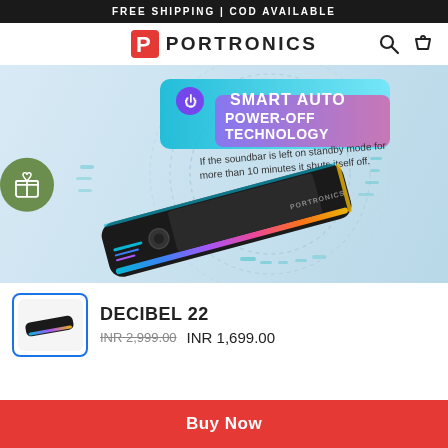FREE SHIPPING | COD AVAILABLE
[Figure (logo): Portronics logo with red P icon and brand name PORTRONICS]
[Figure (photo): Portronics Decibel 22 soundbar product image with RGB lighting and text: SMART AUTO POWER-OFF TECHNOLOGY. If the soundbar is left on standby mode for more than 10 minutes it shuts itself off.]
[Figure (photo): Thumbnail of Portronics Decibel 22 soundbar]
DECIBEL 22
INR 2,999.00  INR 1,699.00
Buy Now